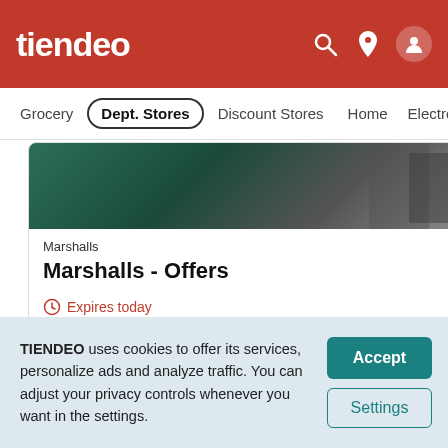tiendeo
Grocery | Dept. Stores | Discount Stores | Home | Electronic
[Figure (screenshot): Marshalls store image thumbnail showing dark clothing and retail environment]
Marshalls
Marshalls - Offers
Expires today
View Deals!
Advertising
TIENDEO uses cookies to offer its services, personalize ads and analyze traffic. You can adjust your privacy controls whenever you want in the settings.